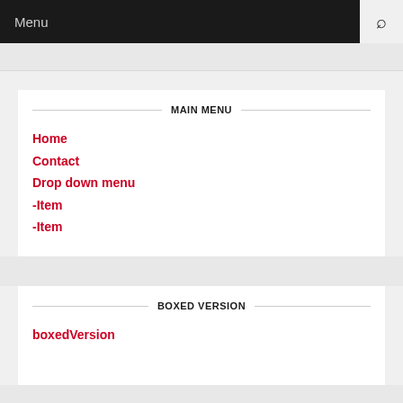Menu
MAIN MENU
Home
Contact
Drop down menu
-Item
-Item
BOXED VERSION
boxedVersion